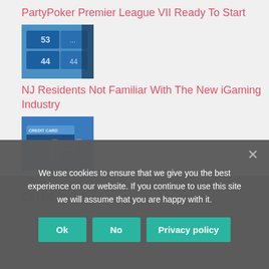PartyPoker Premier League VII Ready To Start
[Figure (photo): Thumbnail image related to PartyPoker Premier League article, showing numbered blue cards/tiles]
NJ Residents Not Familiar With The New iGaming Industry
[Figure (photo): Thumbnail image related to iGaming article, showing a credit card with a chain and padlock]
Credit Card Issuers Not On Board With US Online Gambling
CATEGORIES
Acquisitions & M...
We use cookies to ensure that we give you the best experience on our website. If you continue to use this site we will assume that you are happy with it.